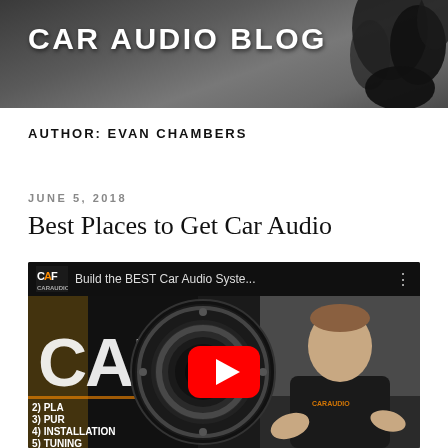CAR AUDIO BLOG
AUTHOR: EVAN CHAMBERS
JUNE 5, 2018
Best Places to Get Car Audio
[Figure (screenshot): YouTube video thumbnail showing 'Build the BEST Car Audio Syste...' with CAF (Car Audio Fabrication) logo, a car speaker, a man in a black shirt, and a YouTube play button overlay. A numbered list shows: 2) PLA, 3) PUR, 4) INSTALLATION, 5) TUNING]